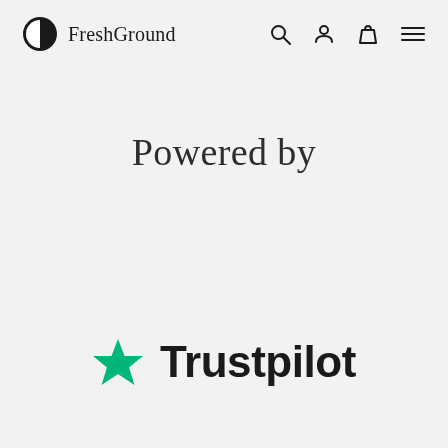FreshGround
Powered by
[Figure (logo): Trustpilot logo with green star and bold black text reading 'Trustpilot']